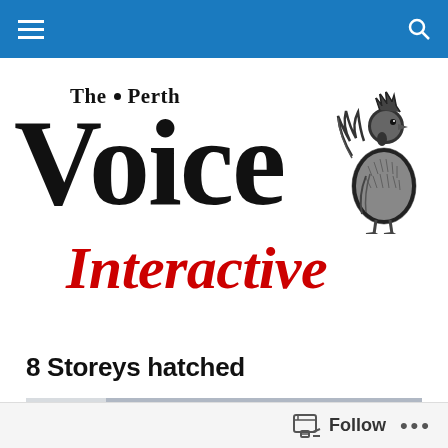Navigation bar with hamburger menu and search icon
[Figure (logo): The Perth Voice Interactive logo with rooster illustration. Large black serif 'Voice' text, 'The Perth' above with a dot separator, 'Interactive' in red italic script below, and a detailed black and white rooster illustration to the right.]
8 Storeys hatched
[Figure (photo): Architectural scale model of a multi-storey building, white building model on grey/blue background, showing 8 storeys with various floor details visible from an angled overhead view.]
Follow • • •